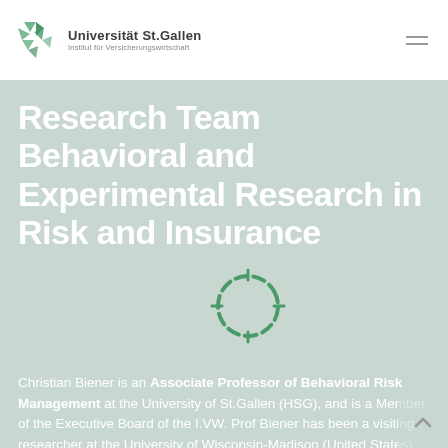Universität St.Gallen – Institut für Versicherungswirtschaft
Research Team Behavioral and Experimental Research in Risk and Insurance
[Figure (other): Circular dashed loading spinner graphic in green/teal tones]
Christian Biener is an Associate Professor of Behavioral Risk Management at the University of St.Gallen (HSG), and is a Member of the Executive Board of the I.VW. Prof Biener has been a visiting researcher at the University of Wisconsin-Madison (United States) and the University of Mannheim (Germany). He received a venia legendi in Finance from the University of St.Gallen, a doctoral degree in Political and Economic Sciences (Dr. rer. pol.) from the University of Ulm (Germany) and a